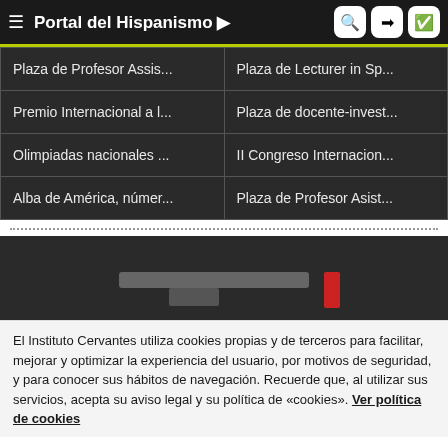Portal del Hispanismo
| Plaza de Profesor Assis... | Plaza de Lecturer in Sp... |
| Premio Internacional a l... | Plaza de docente-invest... |
| Olimpiadas nacionales ... | II Congreso Internacion... |
| Alba de América, númer... | Plaza de Profesor Asist... |
[Figure (logo): Instituto Cervantes logo partial view with gray and red elements]
El Instituto Cervantes utiliza cookies propias y de terceros para facilitar, mejorar y optimizar la experiencia del usuario, por motivos de seguridad, y para conocer sus hábitos de navegación. Recuerde que, al utilizar sus servicios, acepta su aviso legal y su política de «cookies». Ver política de cookies